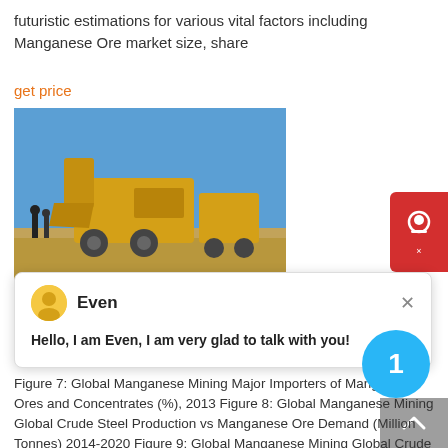futuristic estimations for various vital factors including Manganese Ore market size, share
get price
[Figure (photo): Outdoor mining site photograph showing heavy yellow mining machinery against a clear blue sky]
[Figure (screenshot): Chat widget popup showing avatar of agent 'Even' with message 'Hello, I am Even, I am very glad to talk with you!']
MARKTANALYSE GLOBAL MANGANESE MINING TO 2020
Figure 7: Global Manganese Mining Major Importers of Manganese Ores and Concentrates (%), 2013 Figure 8: Global Manganese Mining Global Crude Steel Production vs Manganese Ore Demand (Million Tonnes) 2014-2020 Figure 9: Global Manganese Mining Global Crude Steel Production vs Silicon and Ferro Manganese Demand (Million Tonnes) 2014-